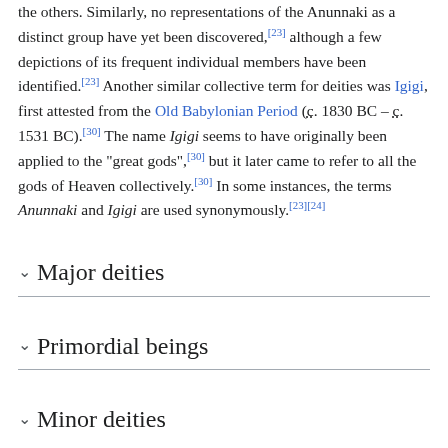the others. Similarly, no representations of the Anunnaki as a distinct group have yet been discovered,[23] although a few depictions of its frequent individual members have been identified.[23] Another similar collective term for deities was Igigi, first attested from the Old Babylonian Period (c. 1830 BC – c. 1531 BC).[30] The name Igigi seems to have originally been applied to the "great gods",[30] but it later came to refer to all the gods of Heaven collectively.[30] In some instances, the terms Anunnaki and Igigi are used synonymously.[23][24]
Major deities
Primordial beings
Minor deities